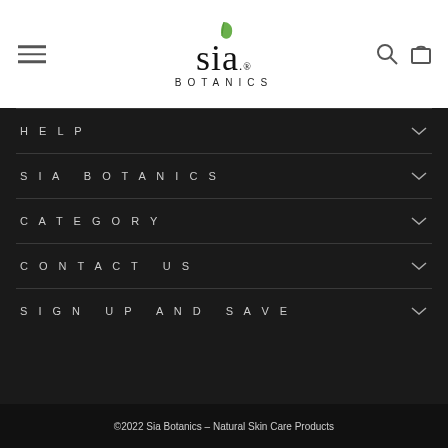[Figure (logo): Sia Botanics logo with green leaf above 'sia.' text and 'BOTANICS' below, plus hamburger menu, search and cart icons in header]
HELP
SIA BOTANICS
CATEGORY
CONTACT US
SIGN UP AND SAVE
©2022 Sia Botanics – Natural Skin Care Products